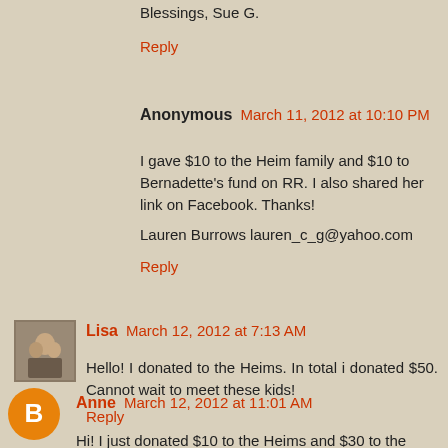Blessings, Sue G.
Reply
Anonymous March 11, 2012 at 10:10 PM
I gave $10 to the Heim family and $10 to Bernadette's fund on RR. I also shared her link on Facebook. Thanks!
Lauren Burrows lauren_c_g@yahoo.com
Reply
Lisa March 12, 2012 at 7:13 AM
Hello! I donated to the Heims. In total i donated $50. Cannot wait to meet these kids!
Reply
Anne March 12, 2012 at 11:01 AM
Hi! I just donated $10 to the Heims and $30 to the Unroe